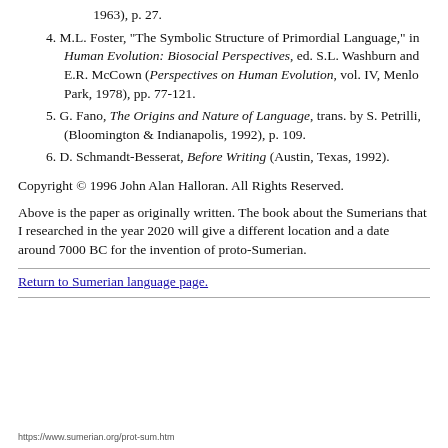1963), p. 27.
4. M.L. Foster, "The Symbolic Structure of Primordial Language," in Human Evolution: Biosocial Perspectives, ed. S.L. Washburn and E.R. McCown (Perspectives on Human Evolution, vol. IV, Menlo Park, 1978), pp. 77-121.
5. G. Fano, The Origins and Nature of Language, trans. by S. Petrilli, (Bloomington & Indianapolis, 1992), p. 109.
6. D. Schmandt-Besserat, Before Writing (Austin, Texas, 1992).
Copyright © 1996 John Alan Halloran. All Rights Reserved.
Above is the paper as originally written. The book about the Sumerians that I researched in the year 2020 will give a different location and a date around 7000 BC for the invention of proto-Sumerian.
Return to Sumerian language page.
https://www.sumerian.org/prot-sum.htm